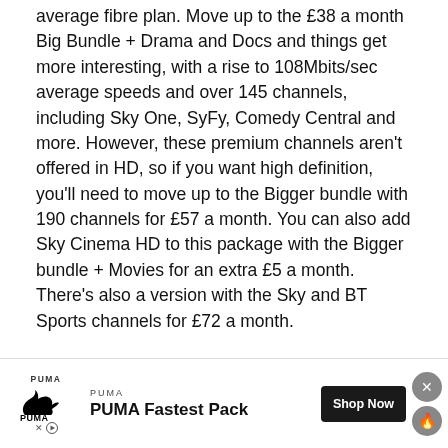average fibre plan. Move up to the £38 a month Big Bundle + Drama and Docs and things get more interesting, with a rise to 108Mbits/sec average speeds and over 145 channels, including Sky One, SyFy, Comedy Central and more. However, these premium channels aren't offered in HD, so if you want high definition, you'll need to move up to the Bigger bundle with 190 channels for £57 a month. You can also add Sky Cinema HD to this package with the Bigger bundle + Movies for an extra £5 a month. There's also a version with the Sky and BT Sports channels for £72 a month.
If you want Virgin's all-singing, all-dancing bundle, Ultimate Oomph gives you 630Mbits/sec fibre, anytime calls and the complete line-up of 230 channels for £79 a month, including Virgin TV Ultra HD and BT Sport Ultimate in Ultra HD. What's more, this package includes an Unlimited data SIM, giving you mobile as well for a qua...
[Figure (other): PUMA advertisement banner at the bottom of the page. Shows PUMA logo (cat silhouette with PUMA text), brand name 'PUMA', tagline 'PUMA Fastest Pack', a 'Shop Now' button in dark background, a close (X) button and a fire/bookmark icon button. Also shows small X and play icons at bottom left.]